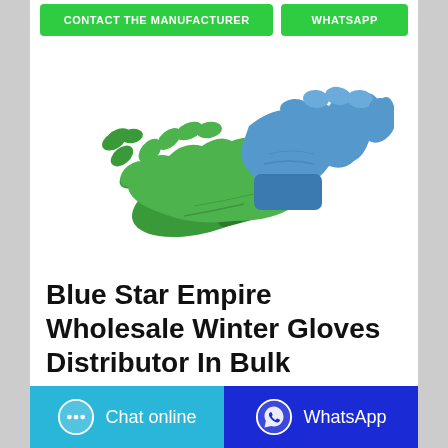[Figure (other): Two buttons: green 'CONTACT THE MANUFACTURER' and green 'WHATSAPP']
[Figure (photo): Photo of two disposable gloves — one green and one blue — overlapping on a white background]
Blue Star Empire Wholesale Winter Gloves Distributor In Bulk
[Figure (other): Bottom bar with two buttons: cyan 'Chat online' with chat bubble icon, and dark blue 'WhatsApp' with WhatsApp logo]